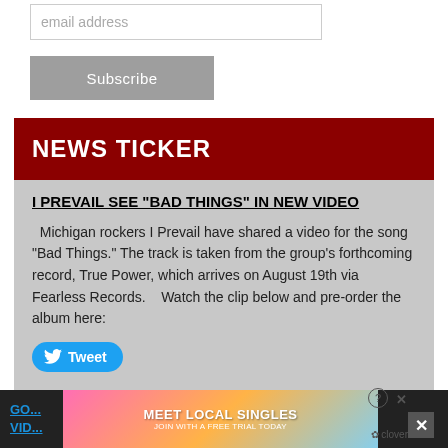email address
Subscribe
NEWS TICKER
I PREVAIL SEE “BAD THINGS” IN NEW VIDEO
Michigan rockers I Prevail have shared a video for the song “Bad Things.” The track is taken from the group’s forthcoming record, True Power, which arrives on August 19th via Fearless Records.    Watch the clip below and pre-order the album here:
Tweet
GO... SIC VID...
[Figure (screenshot): Advertisement banner: Meet Local Singles - Join with a free trial today, Clover dating app]